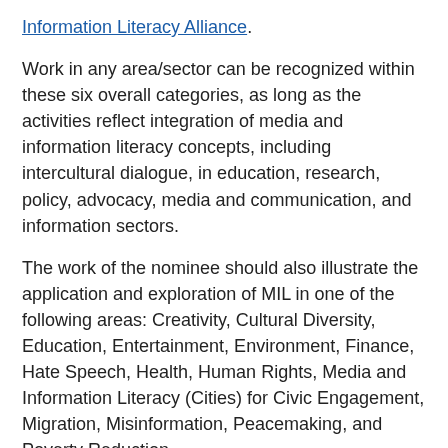Information Literacy Alliance.
Work in any area/sector can be recognized within these six overall categories, as long as the activities reflect integration of media and information literacy concepts, including intercultural dialogue, in education, research, policy, advocacy, media and communication, and information sectors.
The work of the nominee should also illustrate the application and exploration of MIL in one of the following areas: Creativity, Cultural Diversity, Education, Entertainment, Environment, Finance, Hate Speech, Health, Human Rights, Media and Information Literacy (Cities) for Civic Engagement, Migration, Misinformation, Peacemaking, and Poverty Reduction.
Please read the detailed criteria and description on this link before submitting a nomination for a candidate.